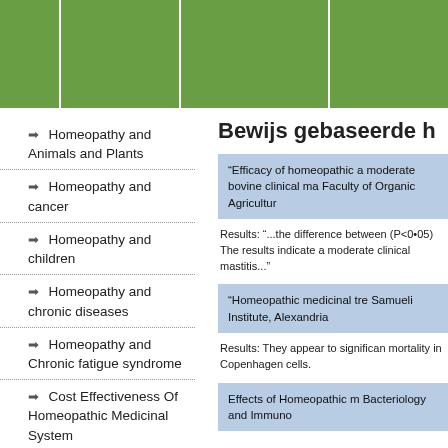Header navigation bar with green columns
Homeopathy and Animals and Plants
Homeopathy and cancer
Homeopathy and children
Homeopathy and chronic diseases
Homeopathy and Chronic fatigue syndrome
Cost Effectiveness Of Homeopathic Medicinal System
Homeopathy and dontistry
Bewijs gebaseerde h
“Efficacy of homeopathic a moderate bovine clinical ma Faculty of Organic Agricultur
Results: “...the difference between (P<0•05) The results indicate a moderate clinical mastitis...”
“Homeopathic medicinal tre Samueli Institute, Alexandria
Results: They appear to significan mortality in Copenhagen cells.
Effects of Homeopathic m Bacteriology and Immuno